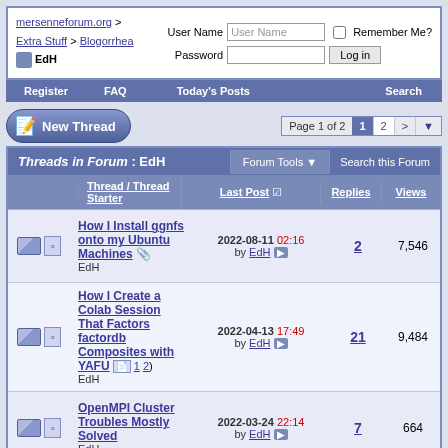mersenneforum.org > Extra Stuff > Blogorrhea > EdH
| Thread / Thread Starter | Last Post | Replies | Views |
| --- | --- | --- | --- |
| How I Install ggnfs onto my Ubuntu Machines — EdH | 2022-08-11 02:16 by EdH | 2 | 7,546 |
| How I Create a Colab Session That Factors factordb Composites with YAFU (1 2) — EdH | 2022-04-13 17:49 by EdH | 21 | 9,484 |
| OpenMPI Cluster Troubles Mostly Solved — EdH | 2022-03-24 22:14 by EdH | 7 | 664 |